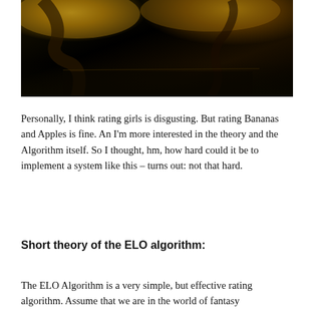[Figure (photo): Dark stage performance photo with yellow/warm lighting, showing performers on a dark stage with dramatic lighting from above.]
Personally, I think rating girls is disgusting. But rating Bananas and Apples is fine. An I'm more interested in the theory and the Algorithm itself. So I thought, hm, how hard could it be to implement a system like this – turns out: not that hard.
Short theory of the ELO algorithm:
The ELO Algorithm is a very simple, but effective rating algorithm. Assume that we are in the world of fantasy